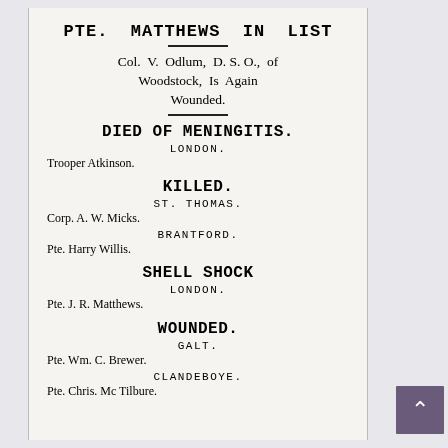PTE. MATTHEWS IN LIST
Col. V. Odlum, D. S. O., of Woodstock, Is Again Wounded.
DIED OF MENINGITIS.
LONDON.
Trooper Atkinson.
KILLED.
ST. THOMAS.
Corp. A. W. Micks.
BRANTFORD.
Pte. Harry Willis.
SHELL SHOCK
LONDON.
Pte. J. R. Matthews.
WOUNDED.
GALT.
Pte. Wm. C. Brewer.
CLANDEBOYE.
Pte. Chris. Mc Tilbure.